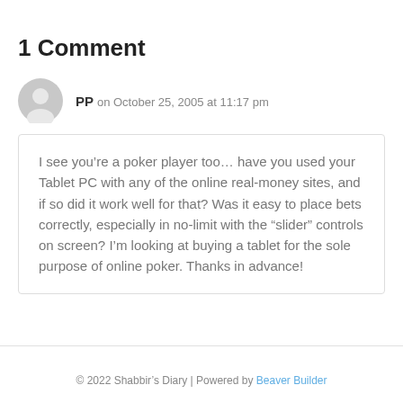1 Comment
[Figure (illustration): Gray default user avatar circle icon]
PP on October 25, 2005 at 11:17 pm
I see you’re a poker player too… have you used your Tablet PC with any of the online real-money sites, and if so did it work well for that? Was it easy to place bets correctly, especially in no-limit with the “slider” controls on screen? I’m looking at buying a tablet for the sole purpose of online poker. Thanks in advance!
© 2022 Shabbir’s Diary | Powered by Beaver Builder